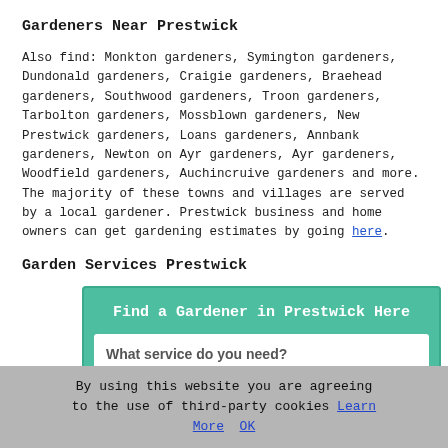Gardeners Near Prestwick
Also find: Monkton gardeners, Symington gardeners, Dundonald gardeners, Craigie gardeners, Braehead gardeners, Southwood gardeners, Troon gardeners, Tarbolton gardeners, Mossblown gardeners, New Prestwick gardeners, Loans gardeners, Annbank gardeners, Newton on Ayr gardeners, Ayr gardeners, Woodfield gardeners, Auchincruive gardeners and more. The majority of these towns and villages are served by a local gardener. Prestwick business and home owners can get gardening estimates by going here.
Garden Services Prestwick
[Figure (screenshot): A web widget box with teal/green background titled 'Find a Gardener in Prestwick Here', containing a form with a dropdown selector showing '- Gardening Services -' and a partially visible label below.]
By using this website you are agreeing to the use of third-party cookies Learn More  OK